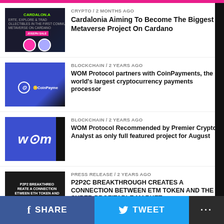CRYPTO / 2 months ago — Cardalonia Aiming To Become The Biggest Metaverse Project On Cardano
BLOCKCHAIN / 2 years ago — WOM Protocol partners with CoinPayments, the world's largest cryptocurrency payments processor
BLOCKCHAIN / 2 years ago — WOM Protocol Recommended by Premier Crypto Analyst as only full featured project for August
PRESS RELEASE / 2 years ago — P2P2C BREAKTHROUGH CREATES A CONNECTION BETWEEN ETM TOKEN AND THE SUPER PROFITABLE MARKET
PRESS RELEASE / 2 years ago
f SHARE  TWEET  ...